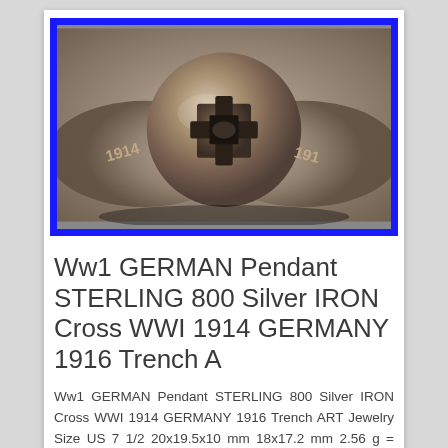[Figure (photo): Close-up photograph of a silver ring with an Iron Cross design engraved on the face, with '1914' and '191' visible on the band, displayed with a blue border frame.]
Ww1 GERMAN Pendant STERLING 800 Silver IRON Cross WWI 1914 GERMANY 1916 Trench A
Ww1 GERMAN Pendant STERLING 800 Silver IRON Cross WWI 1914 GERMANY 1916 Trench ART Jewelry Size US 7 1/2 20x19.5x10 mm 18x17.2 mm 2.56 g = 25.4